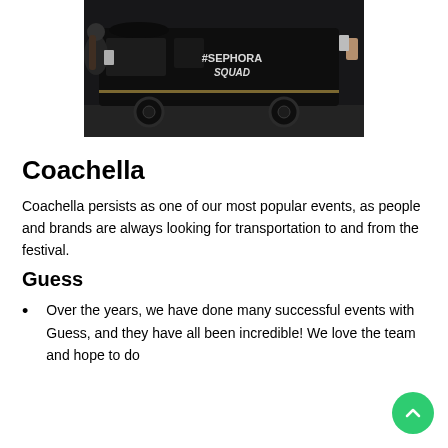[Figure (photo): Photo of a black van with '#SEPHORA SQUAD' written on the side, with people photographing it with smartphones.]
Coachella
Coachella persists as one of our most popular events, as people and brands are always looking for transportation to and from the festival.
Guess
Over the years, we have done many successful events with Guess, and they have all been incredible! We love the team and hope to do